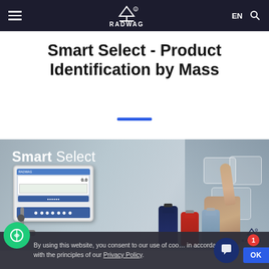RADWAG — EN
Smart Select - Product Identification by Mass
[Figure (photo): Product photo showing RADWAG Smart Select scale with display terminal, colorful supplement bottles (dark blue, red, light blue), and a person's hand touching a translucent touch interface. Background in blue-grey tones with the text 'Smart Select' overlaid in white.]
By using this website, you consent to our use of cookies in accordance with the principles of our Privacy Policy.